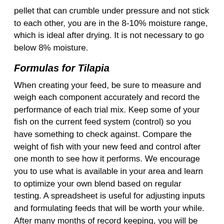pellet that can crumble under pressure and not stick to each other, you are in the 8-10% moisture range, which is ideal after drying. It is not necessary to go below 8% moisture.
Formulas for Tilapia
When creating your feed, be sure to measure and weigh each component accurately and record the performance of each trial mix. Keep some of your fish on the current feed system (control) so you have something to check against. Compare the weight of fish with your new feed and control after one month to see how it performs. We encourage you to use what is available in your area and learn to optimize your own blend based on regular testing. A spreadsheet is useful for adjusting inputs and formulating feeds that will be worth your while. After many months of record keeping, you will be able to evaluate the benefits of your farm-generated feeds. We find that if we formulate the mix based on crude protein, the rest takes care of itself. Earlier I discussed floating ferns as a fresh feed; for bio-diversity and a broader range of inputs you can use a combination of duckweed, azolla and salvinia added to your low cost, high quality pelletized feed. Learn to culture these